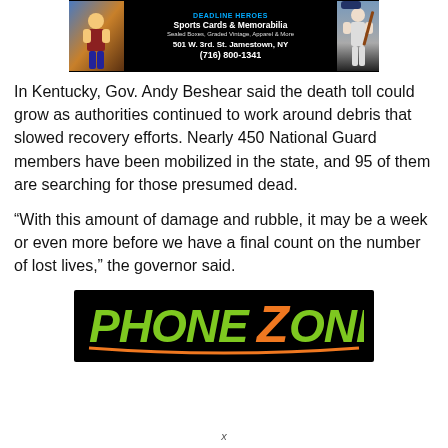[Figure (advertisement): Sports Cards & Memorabilia advertisement banner for Deadline Heroes. Black background with basketball and baseball player images. Text: Sports Cards & Memorabilia, Sealed Boxes, Graded Vintage, Apparel & More, 501 W. 3rd. St. Jamestown, NY, (716) 800-1341]
In Kentucky, Gov. Andy Beshear said the death toll could grow as authorities continued to work around debris that slowed recovery efforts. Nearly 450 National Guard members have been mobilized in the state, and 95 of them are searching for those presumed dead.
“With this amount of damage and rubble, it may be a week or even more before we have a final count on the number of lost lives,” the governor said.
[Figure (advertisement): Phone Zone logo advertisement on black background. Green and orange stylized text reading PHONEZONE.]
x